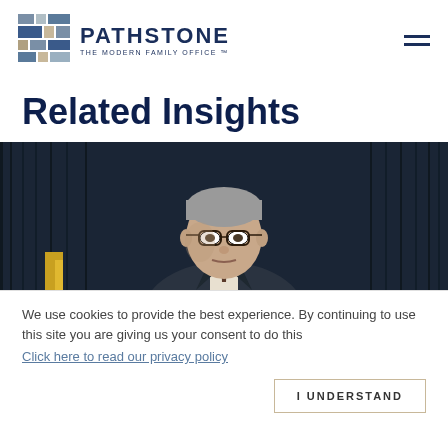PATHSTONE THE MODERN FAMILY OFFICE
Related Insights
[Figure (photo): A man with gray hair and glasses in a dark suit speaking at a podium against a dark curtain backdrop, appearing to be Jerome Powell or similar official.]
We use cookies to provide the best experience. By continuing to use this site you are giving us your consent to do this  Click here to read our privacy policy
I UNDERSTAND